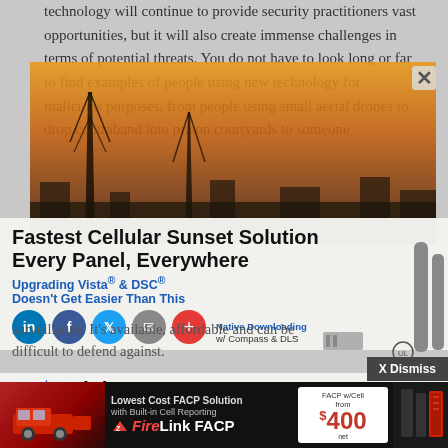technology will continue to provide security practitioners vast opportunities, but it will also create immense challenges in terms of potential threats. You do not have to look long or far to find examples of people using new technology for malicious purposes, from people using small aerial drones to drop contraband into prison courtyards to someone
[Figure (photo): Advertisement overlay showing a cell tower at sunset with orange sky background. Text reads: Fastest Cellular Sunset Solution / Every Panel, Everywhere / Upgrading Vista & DSC Doesn't Get Easier Than This / Native Downloading w/ Compass & DLS. Social share buttons (LinkedIn, Facebook, Twitter, Email, Plus). Antenna hardware images on right side.]
surveillance. It's available, affordable and can be difficult to defend against.
[Figure (logo): StarLink Connect logo overlay with blue star icon and text reading 'Entitled: 20 under 40' 2014, Jason Renaud, Royal Dispatch, MORE Health Center']
[Figure (screenshot): Bottom banner advertisement: Lowest Cost FACP Solution with Built-in Cell Reporting. FireLink FACP. FACP w/Cell from $400.]